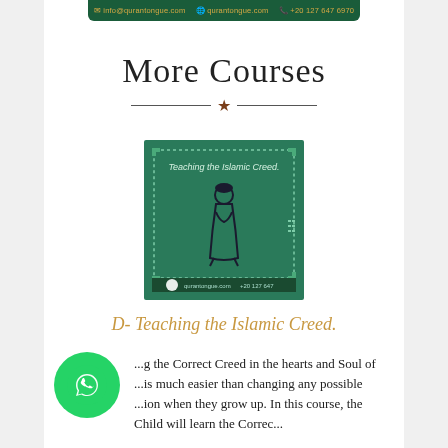✉ info@qurantongue.com  🌐 qurantongue.com  📞 +20 127 647 6970
More Courses
[Figure (illustration): Course thumbnail image on teal/green background showing a figure in Islamic dress with text 'Teaching the Islamic Creed.' and QuranTongue branding at bottom]
D- Teaching the Islamic Creed.
...g the Correct Creed in the hearts and Soul of ...is much easier than changing any possible ...ion when they grow up. In this course, the Child will learn the Correc...
[Figure (logo): WhatsApp chat button - green circle with white WhatsApp phone icon]